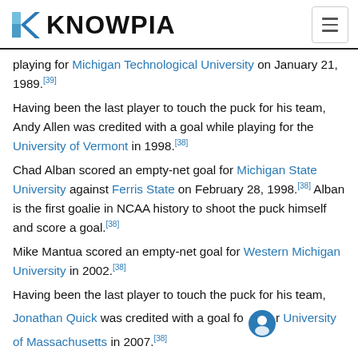KNOWPIA
playing for Michigan Technological University on January 21, 1989.[39]
Having been the last player to touch the puck for his team, Andy Allen was credited with a goal while playing for the University of Vermont in 1998.[38]
Chad Alban scored an empty-net goal for Michigan State University against Ferris State on February 28, 1998.[38] Alban is the first goalie in NCAA history to shoot the puck himself and score a goal.[38]
Mike Mantua scored an empty-net goal for Western Michigan University in 2002.[38]
Having been the last player to touch the puck for his team, Jonathan Quick was credited with a goal for University of Massachusetts in 2007.[38]